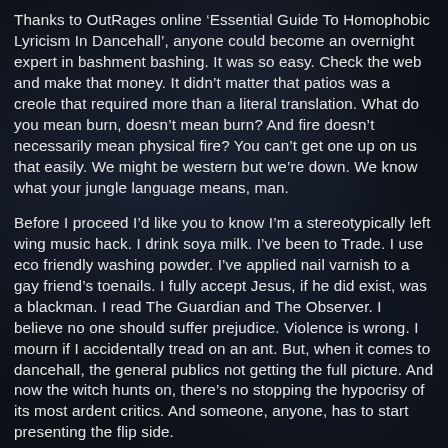Thanks to OutRages online ‘Essential Guide To Homophobic Lyricism In Dancehall’, anyone could become an overnight expert in bashment bashing. It was so easy. Check the web and make that money. It didn’t matter that patios was a creole that required more than a literal translation. What do you mean burn, doesn’t mean burn? And fire doesn’t necessarily mean physical fire? You can’t get one up on us that easily. We might be western but we’re down. We know what your jungle language means, man.
Before I proceed I’d like you to know I’m a stereotypically left wing music hack. I drink soya milk. I’ve been to Trade. I use eco friendly washing powder. I’ve applied nail varnish to a gay friend’s toenails. I fully accept Jesus, if he did exist, was a blackman. I read The Guardian and The Observer. I believe no one should suffer prejudice. Violence is wrong. I mourn if I accidentally tread on an ant. But, when it comes to dancehall, the general publics not getting the full picture. And now the witch hunts on, there’s no stopping the hypocrisy of its most ardent critics. And someone, anyone, has to start presenting the flip side.